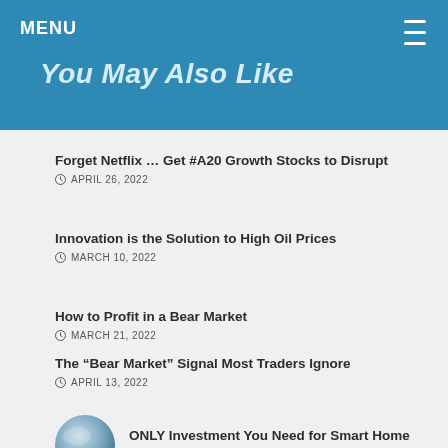MENU
You May Also Like
Forget Netflix … Get #A20 Growth Stocks to Disrupt
APRIL 26, 2022
Innovation is the Solution to High Oil Prices
MARCH 10, 2022
How to Profit in a Bear Market
MARCH 21, 2022
The “Bear Market” Signal Most Traders Ignore
APRIL 13, 2022
ONLY Investment You Need for Smart Home Revolution